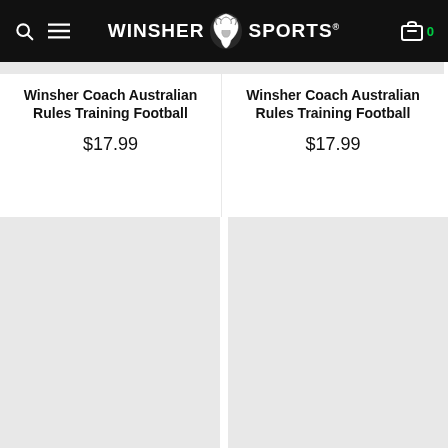Winsher Sports
Winsher Coach Australian Rules Training Football
$17.99
Winsher Coach Australian Rules Training Football
$17.99
[Figure (photo): Product image placeholder (light grey)]
[Figure (photo): Product image placeholder (light grey)]